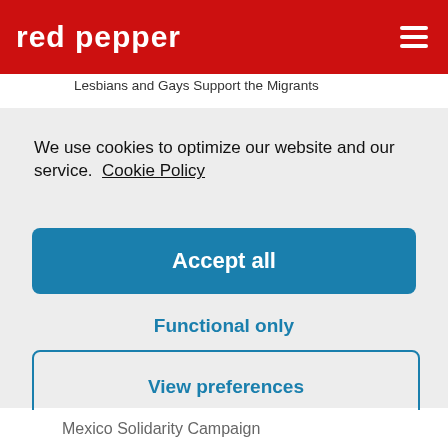red pepper
Lesbians and Gays Support the Migrants
We use cookies to optimize our website and our service.  Cookie Policy
Accept all
Functional only
View preferences
Mexico Solidarity Campaign